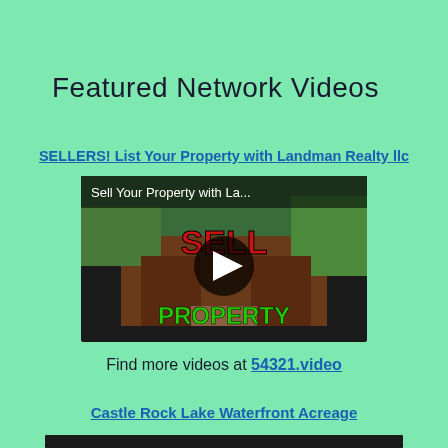Featured Network Videos
SELLERS! List Your Property with Landman Realty llc
[Figure (screenshot): Video thumbnail for 'Sell Your Property with La...' showing a log cabin building with 'SELL' in red text and 'PROPERTY' in green text, with a play button overlay in the center.]
Find more videos at 54321.video
Castle Rock Lake Waterfront Acreage